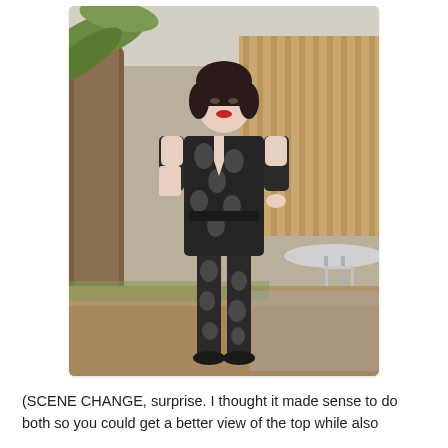[Figure (photo): A woman with short dark hair and red lipstick stands in a garden/patio area wearing a black and grey floral patterned jumpsuit with short sleeves and a V-neckline, with one hand on her hip. She wears black flat shoes. Behind her are a round metal table, folding chairs, a wooden fence, and a palm-like tree.]
(SCENE CHANGE, surprise. I thought it made sense to do both so you could get a better view of the top while also